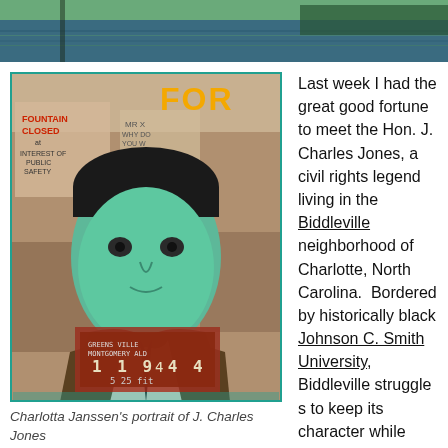[Figure (photo): Top banner photo showing a reflective body of water with green trees]
[Figure (photo): Charlotta Janssen's portrait painting of J. Charles Jones, a young Black man in a suit and tie against a collage background of civil rights era signs and photographs]
Charlotta Janssen's portrait of J. Charles Jones
Last week I had the great good fortune to meet the Hon. J. Charles Jones, a civil rights legend living in the Biddleville neighborhood of Charlotte, North Carolina.  Bordered by historically black Johnson C. Smith University, Biddleville struggles to keep its character while